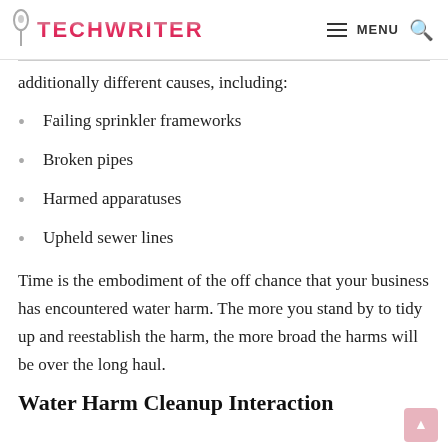TECHWRITER — MENU (search)
additionally different causes, including:
Failing sprinkler frameworks
Broken pipes
Harmed apparatuses
Upheld sewer lines
Time is the embodiment of the off chance that your business has encountered water harm. The more you stand by to tidy up and reestablish the harm, the more broad the harms will be over the long haul.
Water Harm Cleanup Interaction